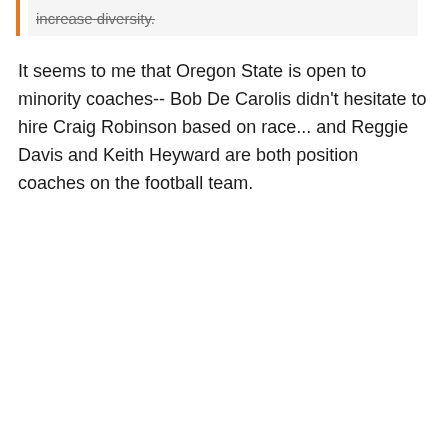increase diversity.
It seems to me that Oregon State is open to minority coaches-- Bob De Carolis didn't hesitate to hire Craig Robinson based on race... and Reggie Davis and Keith Heyward are both position coaches on the football team.